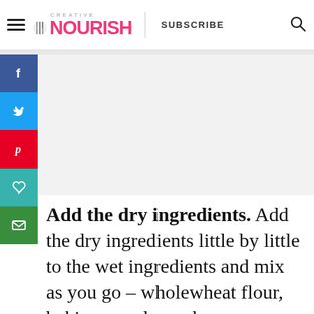CREATIVE NOURISH — SUBSCRIBE
[Figure (screenshot): Creative Nourish website header with hamburger menu, logo, SUBSCRIBE text, and search icon]
[Figure (infographic): Social media sidebar buttons: Facebook, Twitter, Pinterest, Heart/Save, Email]
Add the dry ingredients. Add the dry ingredients little by little to the wet ingredients and mix as you go – wholewheat flour, baking powder and
[Figure (infographic): Floating widgets: pink heart button (63 saves), share icon, and What's Next panel showing 3 Healthy Banana Bre...]